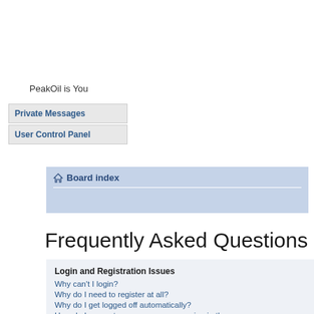PeakOil is You
Private Messages
User Control Panel
Board index
Frequently Asked Questions
Login and Registration Issues
Why can't I login?
Why do I need to register at all?
Why do I get logged off automatically?
How do I prevent my username appearing in the